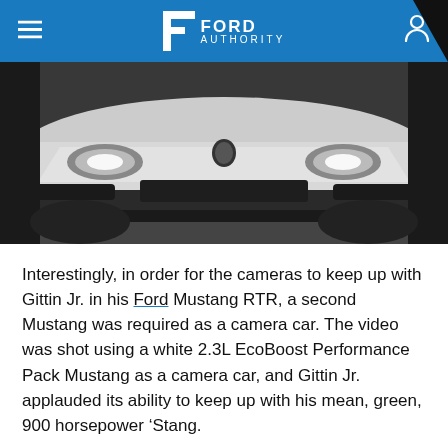Ford Authority
[Figure (photo): Front view of a white Ford Mustang with EcoBoost badging, low angle shot showing front bumper, headlights, and sporty styling in a dark environment.]
Interestingly, in order for the cameras to keep up with Gittin Jr. in his Ford Mustang RTR, a second Mustang was required as a camera car. The video was shot using a white 2.3L EcoBoost Performance Pack Mustang as a camera car, and Gittin Jr. applauded its ability to keep up with his mean, green, 900 horsepower ‘Stang.
“It was just the right amount of sketchiness and fun together… and quite a bit more challenging than I had